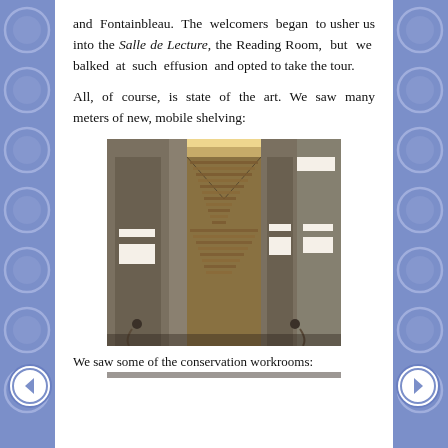and Fontainbleau. The welcomers began to usher us into the Salle de Lecture, the Reading Room, but we balked at such effusion and opted to take the tour.
All, of course, is state of the art. We saw many meters of new, mobile shelving:
[Figure (photo): Interior photo of mobile archive shelving units with binders/folders densely packed on shelves, viewed from the aisle between the units.]
We saw some of the conservation workrooms: